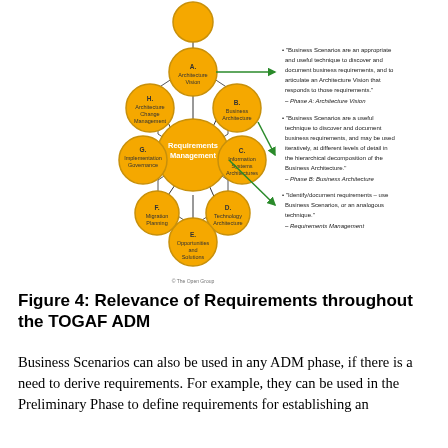[Figure (flowchart): TOGAF ADM wheel diagram showing Requirements Management at the center connected to phases A through H, with green arrows pointing from phases A, B, and Requirements Management to bullet point quotes on the right side of the diagram.]
Figure 4: Relevance of Requirements throughout the TOGAF ADM
Business Scenarios can also be used in any ADM phase, if there is a need to derive requirements. For example, they can be used in the Preliminary Phase to define requirements for establishing an